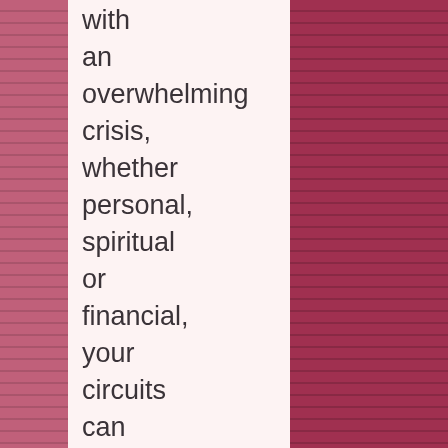with an overwhelming crisis, whether personal, spiritual or financial, your circuits can be overloaded. You may feel paralyzed. However, once a little time has passed, you can marshal your options